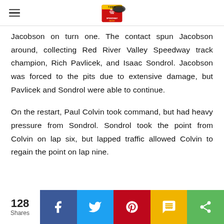Navigation header with hamburger menu and racing speedway logo
Jacobson on turn one. The contact spun Jacobson around, collecting Red River Valley Speedway track champion, Rich Pavlicek, and Isaac Sondrol. Jacobson was forced to the pits due to extensive damage, but Pavlicek and Sondrol were able to continue.
On the restart, Paul Colvin took command, but had heavy pressure from Sondrol. Sondrol took the point from Colvin on lap six, but lapped traffic allowed Colvin to regain the point on lap nine.
128 Shares — Share bar with Facebook, Twitter, Pinterest, SMS, More buttons